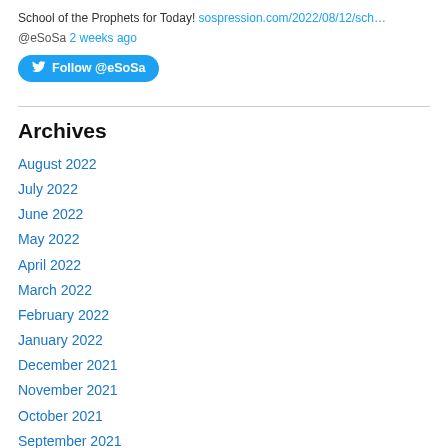School of the Prophets for Today! sospression.com/2022/08/12/sch…
@eSoSa 2 weeks ago
[Figure (other): Follow @eSoSa Twitter follow button]
Archives
August 2022
July 2022
June 2022
May 2022
April 2022
March 2022
February 2022
January 2022
December 2021
November 2021
October 2021
September 2021